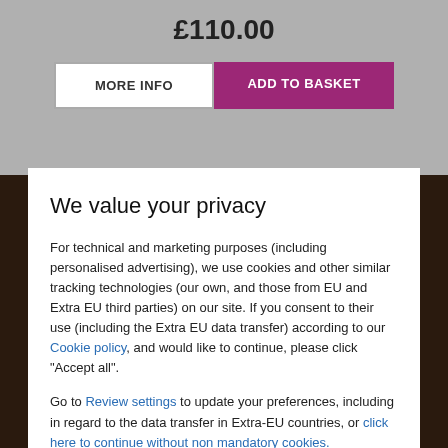£110.00
MORE INFO
ADD TO BASKET
We value your privacy
For technical and marketing purposes (including personalised advertising), we use cookies and other similar tracking technologies (our own, and those from EU and Extra EU third parties) on our site. If you consent to their use (including the Extra EU data transfer) according to our Cookie policy, and would like to continue, please click "Accept all".
Go to Review settings to update your preferences, including in regard to the data transfer in Extra-EU countries, or click here to continue without non mandatory cookies.
ACCEPT ALL